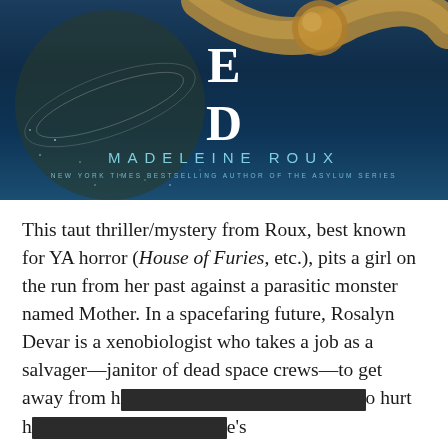[Figure (illustration): Book cover for a novel by Madeleine Roux showing a dark teal/navy background with golden/bronze spherical and curved shapes, large letters E and D visible, author name MADELEINE ROUX in spaced teal caps, subtitle NEW YORK TIMES BESTSELLING AUTHOR OF THE ASYLUM SERIES]
This taut thriller/mystery from Roux, best known for YA horror (House of Furies, etc.), pits a girl on the run from her past against a parasitic monster named Mother. In a spacefaring future, Rosalyn Devar is a xenobiologist who takes a job as a salvager—janitor of dead space crews—to get away from h[REDACTED]o hurt h[REDACTED]e's